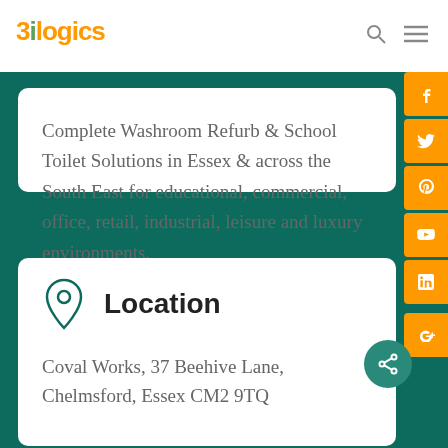[Figure (logo): 3ilogics logo with orange '3', green 'i', and orange 'logics' text]
Complete Washroom Refurb & School Toilet Solutions in Essex & across the South East for educational, commercial, office, retail, industrial, leisure and luxury environments.
Location
Coval Works, 37 Beehive Lane, Chelmsford, Essex CM2 9TQ